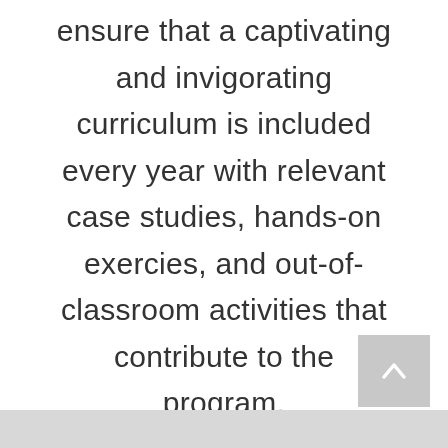ensure that a captivating and invigorating curriculum is included every year with relevant case studies, hands-on exercies, and out-of-classroom activities that contribute to the program.
[Figure (other): Back-to-top button: a grey square with a white upward-pointing chevron/caret icon]